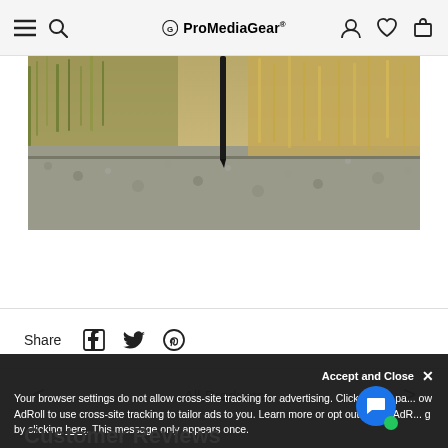ProMediaGear
[Figure (photo): Close-up photo of a camera tripod leg on gravel path with dry golden grass in the background, shallow depth of field]
Share
All Products
Accept and Close ×
Your browser settings do not allow cross-site tracking for advertising. Click on this page to allow AdRoll to use cross-site tracking to tailor ads to you. Learn more or opt out of this AdRoll tracking by clicking here. This message only appears once.
Customer Reviews